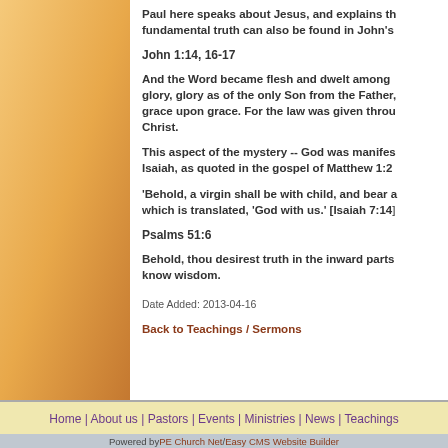Paul here speaks about Jesus, and explains th... fundamental truth can also be found in John's...
John 1:14, 16-17
And the Word became flesh and dwelt among... glory, glory as of the only Son from the Father,... grace upon grace. For the law was given throu... Christ.
This aspect of the mystery -- God was manifes... Isaiah, as quoted in the gospel of Matthew 1:2...
'Behold, a virgin shall be with child, and bear a... which is translated, 'God with us.' [Isaiah 7:14]
Psalms 51:6
Behold, thou desirest truth in the inward parts... know wisdom.
Date Added: 2013-04-16
Back to Teachings / Sermons
Home | About us | Pastors | Events | Ministries | News | Teachings
Powered by PE Church Net / Easy CMS Website Builder